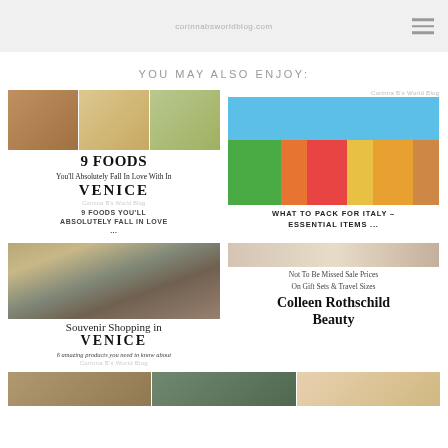corinnabsworldblog.com
YOU MAY ALSO ENJOY:
[Figure (photo): Three food dish photos side by side]
9 FOODS
You'll Absolutely Fall In Love With In
VENICE
Corinna B's World Blog
9 FOODS YOU'LL ABSOLUTELY FALL IN LOVE ...
[Figure (photo): Colorful buildings in Venice/Burano with blue sky]
Corinna B's World Blog
WHAT TO PACK FOR ITALY – ESSENTIAL ITEMS ...
[Figure (photo): Venice cathedral/basilica with crowd]
Souvenir Shopping in VENICE
6 amazing products you need to know about
Corinna B's World Blog
[Figure (photo): Beauty products photo blurred]
Not To Be Missed Sale Prices On Gift Sets & Travel Sizes
Colleen Rothschild Beauty
[Figure (photo): Bottom row of small photos]